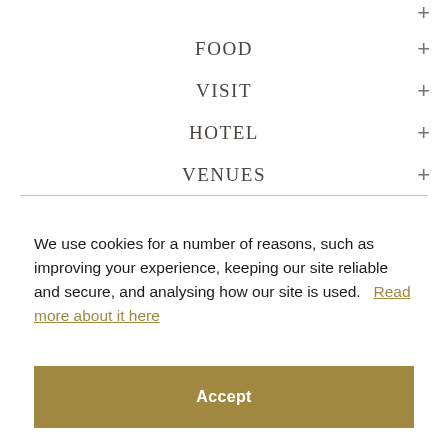FOOD
VISIT
HOTEL
VENUES
We use cookies for a number of reasons, such as improving your experience, keeping our site reliable and secure, and analysing how our site is used.   Read more about it here
Accept